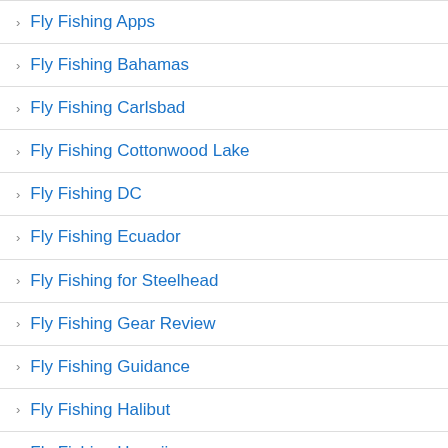Fly Fishing Apps
Fly Fishing Bahamas
Fly Fishing Carlsbad
Fly Fishing Cottonwood Lake
Fly Fishing DC
Fly Fishing Ecuador
Fly Fishing for Steelhead
Fly Fishing Gear Review
Fly Fishing Guidance
Fly Fishing Halibut
Fly Fishing Hawaii
Fly Fishing Hedionda Lagoon
Fly Fishing Kauai